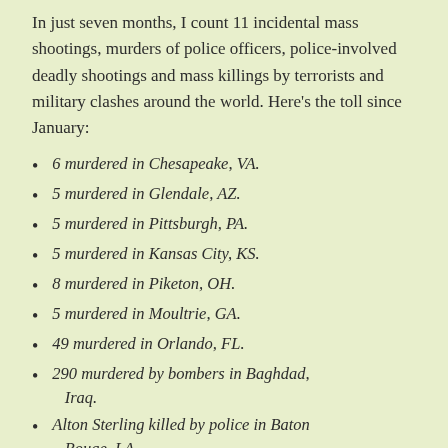In just seven months, I count 11 incidental mass shootings, murders of police officers, police-involved deadly shootings and mass killings by terrorists and military clashes around the world. Here's the toll since January:
6 murdered in Chesapeake, VA.
5 murdered in Glendale, AZ.
5 murdered in Pittsburgh, PA.
5 murdered in Kansas City, KS.
8 murdered in Piketon, OH.
5 murdered in Moultrie, GA.
49 murdered in Orlando, FL.
290 murdered by bombers in Baghdad, Iraq.
Alton Sterling killed by police in Baton Rouge, LA.